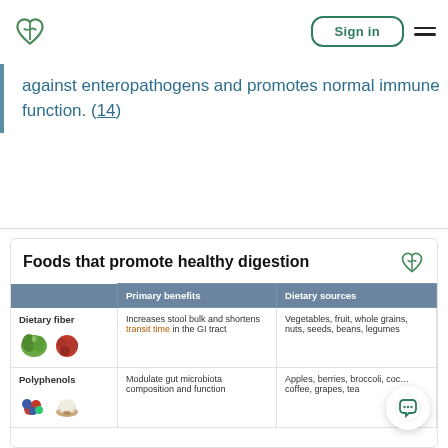Sign in
against enteropathogens and promotes normal immune function. (14)
Foods that promote healthy digestion
|  | Primary benefits | Dietary sources |
| --- | --- | --- |
| Dietary fiber | Increases stool bulk and shortens transit time in the GI tract | Vegetables, fruit, whole grains, nuts, seeds, beans, legumes |
| Polyphenols | Modulate gut microbiota composition and function | Apples, berries, broccoli, cocoa, coffee, grapes, tea |